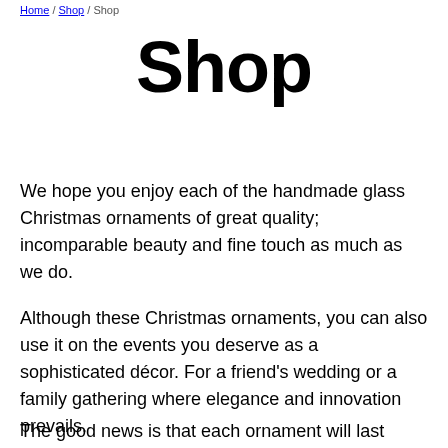Home / Shop / Shop
Shop
We hope you enjoy each of the handmade glass Christmas ornaments of great quality; incomparable beauty and fine touch as much as we do.
Although these Christmas ornaments, you can also use it on the events you deserve as a sophisticated décor. For a friend's wedding or a family gathering where elegance and innovation prevails.
The good news is that each ornament will last